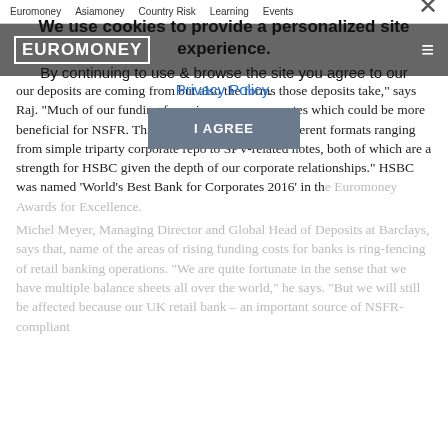Euromoney   Asiamoney   Country Risk   Learning   Events
[Figure (logo): Euromoney logo in white text on dark grey header bar with hamburger menu icon]
our deposits are coming from but also the forms those deposits take," says Raj. "Much of our funding focus is now on corporates which could be more beneficial for NSFR. This can be in a number of different formats ranging from simple triparty corporate repo to SPV-related notes, both of which are a strength for HSBC given the depth of our corporate relationships." HSBC was named 'World's Best Bank for Corporates 2016' in the Euromoney Awards for Excellence. Michel Meyer, Managing Director and Global Head of Deposits at Barclays, says that, name of the areas of rising funding costs for banks is ring-fencing of retail banking operations. "We are quite fortunate in the sense that we have multiple balance sheets all over the world," he says. "But we will still be affected because our UK retail bank – an important source of NSFR-compliant
We use cookies to provide a personalized site experience.
By continuing to use & browse the site you agree to our Privacy Policy.
I AGREE